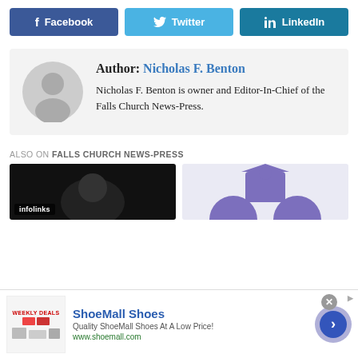[Figure (other): Social share buttons: Facebook (dark blue), Twitter (light blue), LinkedIn (teal)]
Author: Nicholas F. Benton
Nicholas F. Benton is owner and Editor-In-Chief of the Falls Church News-Press.
ALSO ON FALLS CHURCH NEWS-PRESS
[Figure (photo): Two thumbnail images side by side: left is dark/black image with infolinks label, right shows purple crown/figure illustration]
[Figure (screenshot): Ad overlay: ShoeMall Shoes - Weekly Deals - Quality ShoeMall Shoes At A Low Price! - www.shoemall.com]